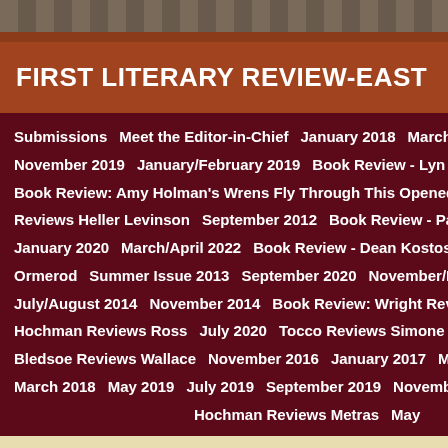FIRST LITERARY REVIEW-EAST
Submissions   Meet the Editor-in-Chief   January 2018   March 2019   May/November 2019   January/February 2019   Book Review - Lyn Lifshin's "Bal...   Book Review: Amy Holman's Wrens Fly Through This Opened Window   Reviews Heller Levinson   September 2012   Book Review - Patricia Carra...   January 2020   March/April 2022   Book Review - Dean Kostos "Rivering...   Ormerod   Summer Issue 2013   September 2020   November/December 20...   July/August 2014   November 2014   Book Review: Wright Reviews Gard...   Hochman Reviews Ross   July 2020   Tocco Reviews Simone   Septem...   Bledsoe Reviews Wallace   November 2016   January 2017   May 2017   Web...   March 2018   May 2019   July 2019   September 2019   November 2020   Hochman Reviews Metras   May...